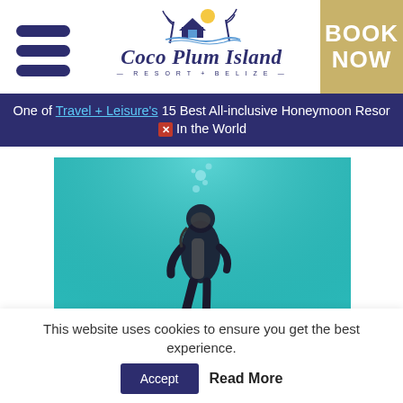[Figure (logo): Coco Plum Island Resort + Belize logo with palm tree and hut icon above stylized script text]
BOOK NOW
One of Travel + Leisure's 15 Best All-inclusive Honeymoon Resorts In the World
[Figure (photo): Underwater photo of a scuba diver swimming above coral formations in turquoise water]
This website uses cookies to ensure you get the best experience.
Accept
Read More